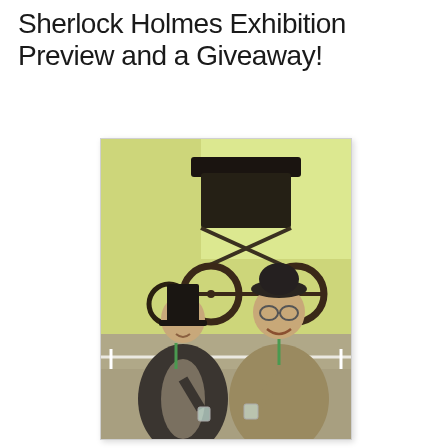Sherlock Holmes Exhibition Preview and a Giveaway!
[Figure (photo): Two men dressed in period costumes at a Sherlock Holmes exhibition. The man on the left wears a dark suit and tall top hat, holding a small glass. The man on the right wears a tan/brown suit and a dark bowler hat with glasses, also holding a small glass. They are smiling and posing together. Behind them is a vintage horse-drawn carriage and a yellow-green wall. There is a white rope barrier at the bottom of the scene.]